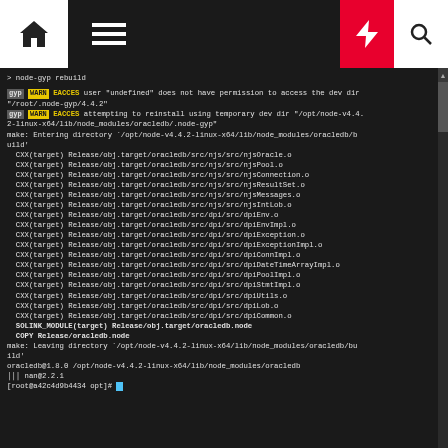[Figure (screenshot): Terminal/console output showing node-gyp rebuild with WARN EACCES messages and CXX compile lines for oracledb, ending with SOLINK_MODULE, COPY, make leaving directory, oracledb version info, and shell prompt.]
Create the jpoot/node_oracledb image.
[Figure (screenshot): Code snippet showing line 1: exit, line 2: docker commit a42c4d9b4434 jpoot/no]